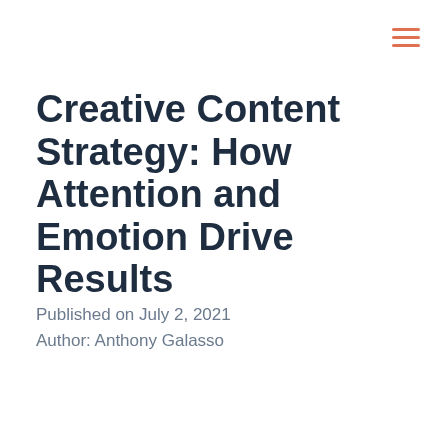[Figure (other): Hamburger menu icon (three horizontal orange/coral lines) in top-right corner]
Creative Content Strategy: How Attention and Emotion Drive Results
Published on July 2, 2021
Author: Anthony Galasso